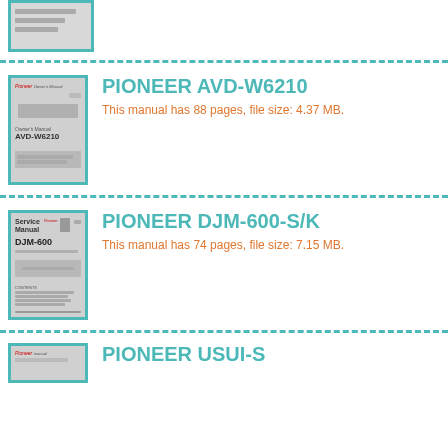[Figure (illustration): Partial product manual thumbnail at top of page, cut off]
[Figure (illustration): Pioneer AVD-W6210 Owner's Manual cover thumbnail with teal border]
PIONEER AVD-W6210
This manual has 88 pages, file size: 4.37 MB.
[Figure (illustration): Pioneer DJM-600-S/K Service Manual cover thumbnail with teal border]
PIONEER DJM-600-S/K
This manual has 74 pages, file size: 7.15 MB.
[Figure (illustration): Bottom partial Pioneer manual thumbnail, cut off at page bottom]
PIONEER USUI-S...